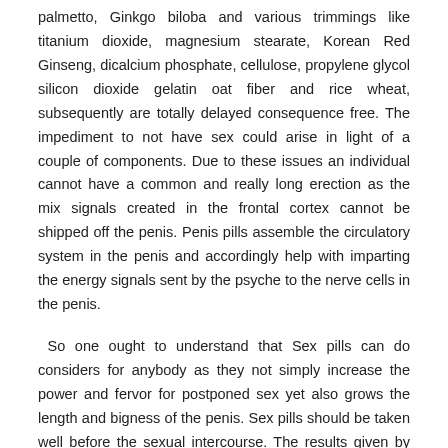palmetto, Ginkgo biloba and various trimmings like titanium dioxide, magnesium stearate, Korean Red Ginseng, dicalcium phosphate, cellulose, propylene glycol silicon dioxide gelatin oat fiber and rice wheat, subsequently are totally delayed consequence free. The impediment to not have sex could arise in light of a couple of components. Due to these issues an individual cannot have a common and really long erection as the mix signals created in the frontal cortex cannot be shipped off the penis. Penis pills assemble the circulatory system in the penis and accordingly help with imparting the energy signals sent by the psyche to the nerve cells in the penis.
So one ought to understand that Sex pills can do considers for anybody as they not simply increase the power and fervor for postponed sex yet also grows the length and bigness of the penis. Sex pills should be taken well before the sexual intercourse. The results given by them can be delegated present second and long stretch. As short period of time results the clients will prepare to have a genuine erection during the hour of the intercourse. However, the effect is not for a really long time and after the intercourse is over the erection will moreover subside. As long